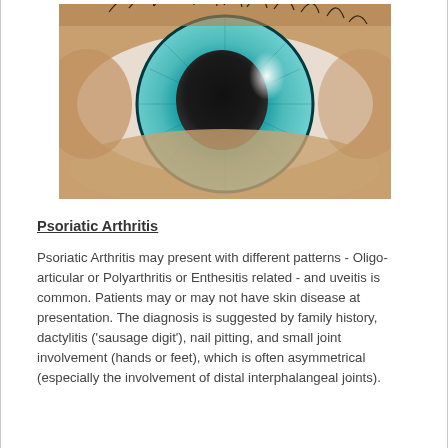[Figure (photo): Close-up macro photograph of a human eye with a teal/blue-green iris and dark pupil, with a white specular highlight. Eyelashes and skin texture visible.]
Psoriatic Arthritis
Psoriatic Arthritis may present with different patterns - Oligo-articular or Polyarthritis or Enthesitis related - and uveitis is common. Patients may or may not have skin disease at presentation. The diagnosis is suggested by family history, dactylitis ('sausage digit'), nail pitting, and small joint involvement (hands or feet), which is often asymmetrical (especially the involvement of distal interphalangeal joints).